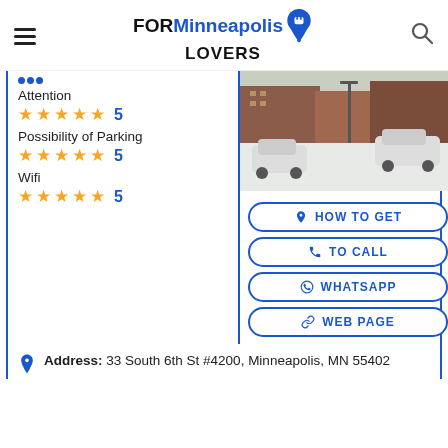FORMinneapolis LOVERS
Attention ★★★★★ 5
Possibility of Parking ★★★★★ 5
Wifi ★★★★★ 5
[Figure (photo): Street-level photo showing a snowy parking lot with parked cars and brick buildings in the background]
HOW TO GET
TO CALL
WHATSAPP
WEB PAGE
Address: 33 South 6th St #4200, Minneapolis, MN 55402